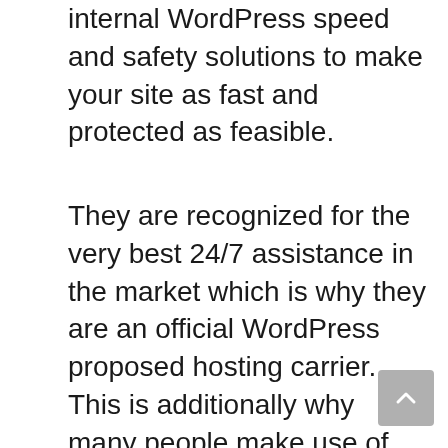internal WordPress speed and safety solutions to make your site as fast and protected as feasible.
They are recognized for the very best 24/7 assistance in the market which is why they are an official WordPress proposed hosting carrier. This is additionally why many people make use of SiteGround to host their first website. SiteGround attributes include automated upgrades, everyday back-ups integrated WP caching, cost-free content delivery network, totally free SSL, one-click staging, as well as GIT version control.
Siteground is among the suggested WordPress hosting firms. They are understood for their excellent customer